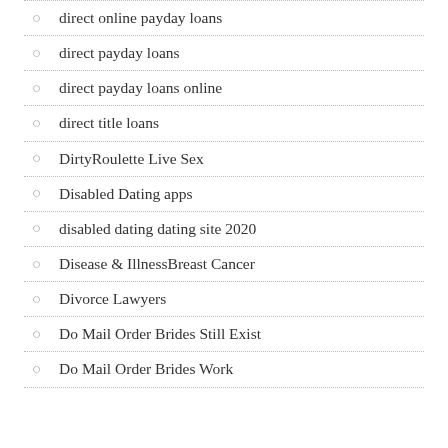direct online payday loans
direct payday loans
direct payday loans online
direct title loans
DirtyRoulette Live Sex
Disabled Dating apps
disabled dating dating site 2020
Disease & IllnessBreast Cancer
Divorce Lawyers
Do Mail Order Brides Still Exist
Do Mail Order Brides Work